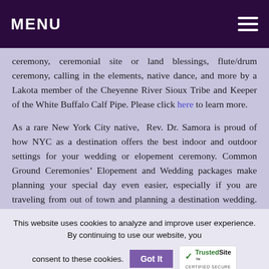MENU
ceremony, ceremonial site or land blessings, flute/drum ceremony, calling in the elements, native dance, and more by a Lakota member of the Cheyenne River Sioux Tribe and Keeper of the White Buffalo Calf Pipe. Please click here to learn more.
As a rare New York City native, Rev. Dr. Samora is proud of how NYC as a destination offers the best indoor and outdoor settings for your wedding or elopement ceremony. Common Ground Ceremonies’ Elopement and Wedding packages make planning your special day even easier, especially if you are traveling from out of town and planning a destination wedding. All you need to do is
This website uses cookies to analyze and improve user experience. By continuing to use our website, you consent to these cookies.